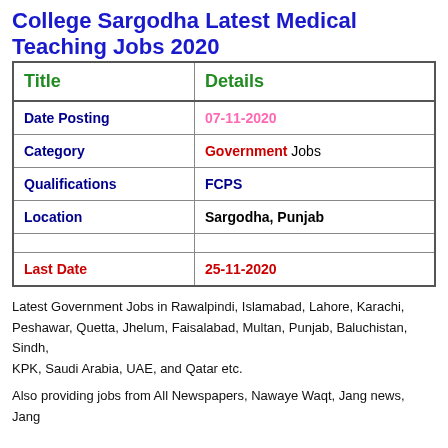College Sargodha Latest Medical Teaching Jobs 2020
| Title | Details |
| --- | --- |
| Date Posting | 07-11-2020 |
| Category | Government Jobs |
| Qualifications | FCPS |
| Location | Sargodha, Punjab |
|  |  |
| Last Date | 25-11-2020 |
Latest Government Jobs in Rawalpindi, Islamabad, Lahore, Karachi, Peshawar, Quetta, Jhelum, Faisalabad, Multan, Punjab, Baluchistan, Sindh, KPK, Saudi Arabia, UAE, and Qatar etc.
Also providing jobs from All Newspapers, Nawaye Waqt, Jang news, Jang